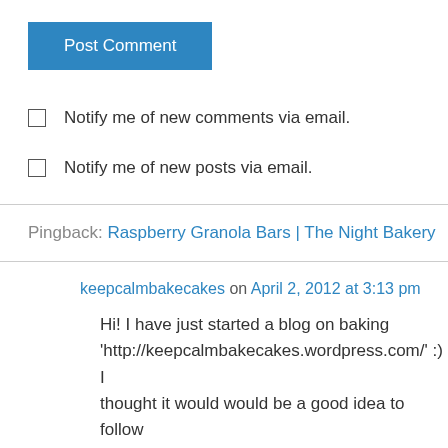Post Comment
Notify me of new comments via email.
Notify me of new posts via email.
Pingback: Raspberry Granola Bars | The Night Bakery
keepcalmbakecakes on April 2, 2012 at 3:13 pm
Hi! I have just started a blog on baking 'http://keepcalmbakecakes.wordpress.com/' :) I thought it would would be a good idea to follow some other bloggers and stumbled across yours… These look rather delicious and I may possibly have to make some when I go back to